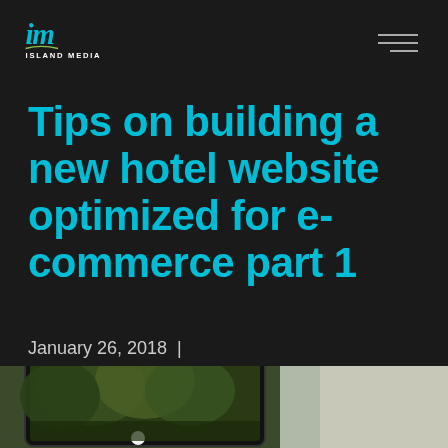Island Media
Tips on building a new hotel website optimized for e-commerce part 1
January 26, 2018 | Website Development
[Figure (screenshot): Screenshot of a hotel website displayed on a tablet device, showing a nature/forest scene, partially visible at the bottom of the page.]